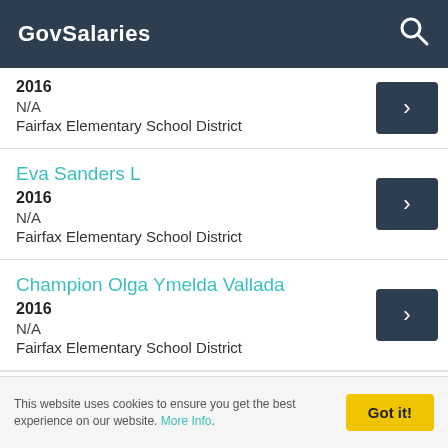GovSalaries
2016
N/A
Fairfax Elementary School District
Eva Sanders L
2016
N/A
Fairfax Elementary School District
Champion Olga Ymelda Vallada
2016
N/A
Fairfax Elementary School District
This website uses cookies to ensure you get the best experience on our website. More Info.